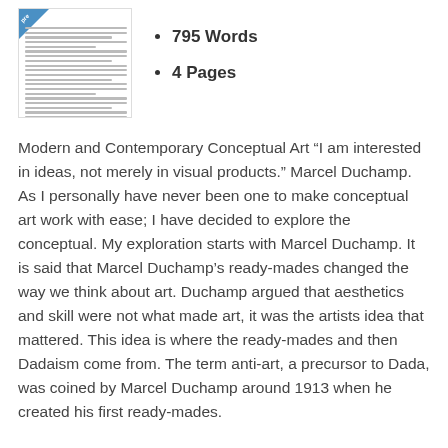[Figure (illustration): Preview thumbnail of a document page with a blue corner badge labeled 'pre']
795 Words
4 Pages
Modern and Contemporary Conceptual Art “I am interested in ideas, not merely in visual products.” Marcel Duchamp. As I personally have never been one to make conceptual art work with ease; I have decided to explore the conceptual. My exploration starts with Marcel Duchamp. It is said that Marcel Duchamp’s ready-mades changed the way we think about art. Duchamp argued that aesthetics and skill were not what made art, it was the artists idea that mattered. This idea is where the ready-mades and then Dadaism come from. The term anti-art, a precursor to Dada, was coined by Marcel Duchamp around 1913 when he created his first ready-mades.